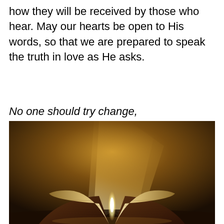how they will be received by those who hear. May our hearts be open to His words, so that we are prepared to speak the truth in love as He asks.
No one should try change,
[Figure (photo): An open Bible on a dark surface with a dramatic beam of golden light radiating from its pages upward into a dark background.]